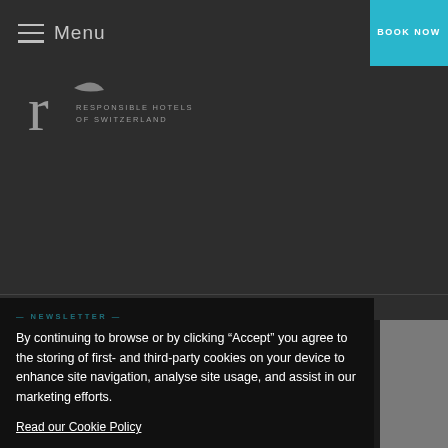Menu
[Figure (logo): Responsible Hotels of Switzerland logo — stylized 'r' with text]
BOOK NOW
By continuing to browse or by clicking “Accept” you agree to the storing of first- and third-party cookies on your device to enhance site navigation, analyse site usage, and assist in our marketing efforts.
Read our Cookie Policy
Accept